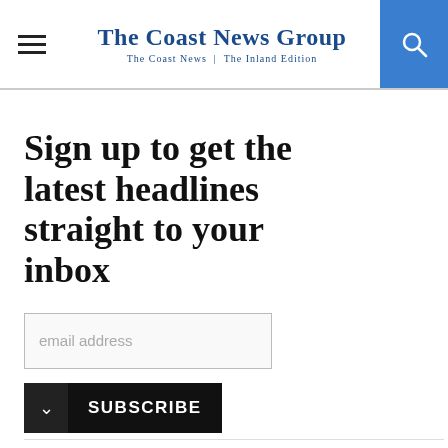The Coast News Group | The Coast News | The Inland Edition
Sign up to get the latest headlines straight to your inbox
email address
SUBSCRIBE